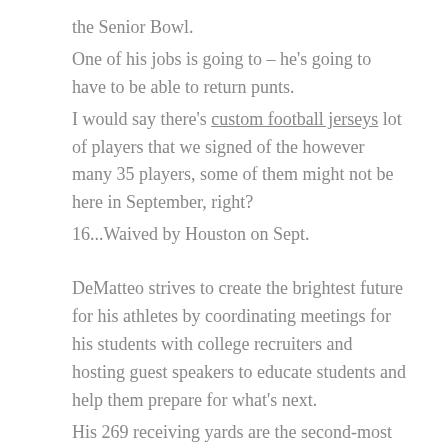the Senior Bowl.
One of his jobs is going to – he's going to have to be able to return punts.
I would say there's custom football jerseys lot of players that we signed of the however many 35 players, some of them might not be here in September, right?
16...Waived by Houston on Sept.
DeMatteo strives to create the brightest future for his athletes by coordinating meetings for his students with college recruiters and hosting guest speakers to educate students and help them prepare for what's next.
His 269 receiving yards are the second-most in a single-game in franchise history, trailing only WR